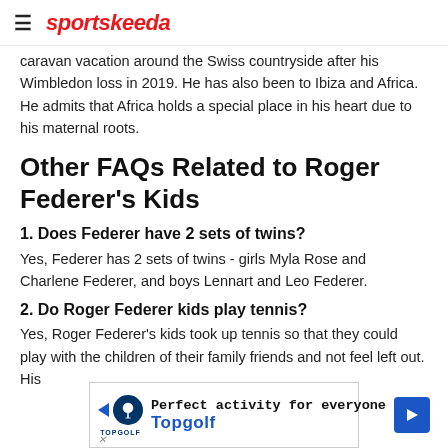sportskeeda
caravan vacation around the Swiss countryside after his Wimbledon loss in 2019. He has also been to Ibiza and Africa. He admits that Africa holds a special place in his heart due to his maternal roots.
Other FAQs Related to Roger Federer's Kids
1. Does Federer have 2 sets of twins?
Yes, Federer has 2 sets of twins - girls Myla Rose and Charlene Federer, and boys Lennart and Leo Federer.
2. Do Roger Federer kids play tennis?
Yes, Roger Federer's kids took up tennis so that they could play with the children of their family friends and not feel left out. His
[Figure (other): Topgolf advertisement banner: 'Perfect activity for everyone' with Topgolf branding and logo]